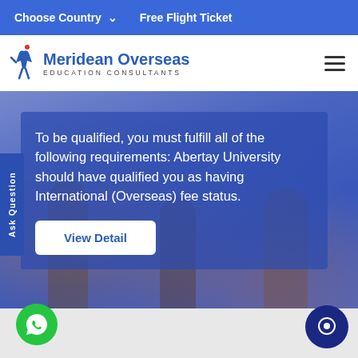Choose Country  ∨     Free Flight Ticket
[Figure (logo): Meridean Overseas Education Consultants logo with blue figure icon]
Meridean Overseas EDUCATION CONSULTANTS
To be qualified, you must fulfill all of the following requirements: Abertay University should have qualified you as having International (Overseas) fee status.
View Detail
[Figure (illustration): Background photo of students raising hands in classroom, blurred behind blue overlay]
[Figure (other): WhatsApp chat button (green circle with WhatsApp icon) at bottom left]
[Figure (other): Chat button (dark blue circle) at bottom right]